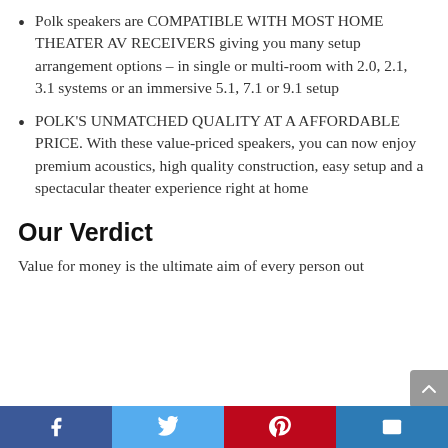Polk speakers are COMPATIBLE WITH MOST HOME THEATER AV RECEIVERS giving you many setup arrangement options – in single or multi-room with 2.0, 2.1, 3.1 systems or an immersive 5.1, 7.1 or 9.1 setup
POLK'S UNMATCHED QUALITY AT A AFFORDABLE PRICE. With these value-priced speakers, you can now enjoy premium acoustics, high quality construction, easy setup and a spectacular theater experience right at home
Our Verdict
Value for money is the ultimate aim of every person out